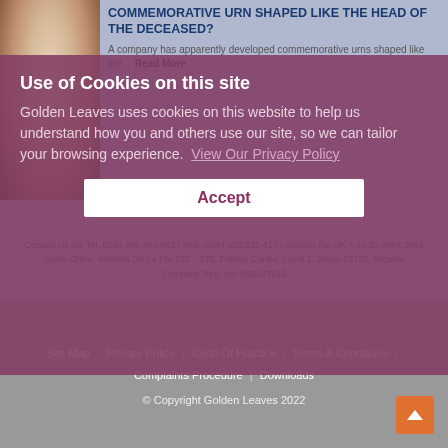[Figure (photo): Woman with white/silver hair, partial face visible on left side]
COMMEMORATIVE URN SHAPED LIKE THE HEAD OF THE DECEASED?
A company has apparently developed commemorative urns shaped like the… Read More
Use of Cookies on this site
Golden Leaves uses cookies on this website to help us understand how you and others use our site, so we can tailor your browsing experience. View Our Privacy Policy
Accept
Contact Us on: Tel. 0034 966 493 082 | Mob. 0034 603 531 417 | Outside the UK + 44 20 8684 3464
Javea Office: Avenida De La Pla 123 – 125, Edificio Caribe, Local 1, Javea 03730, Alicante
Company Reg. No: B98627813
Site Map | Privacy Policy | Code Of Practice | Terms & Conditions | Complaints Procedure | Downloads
© Copyright Golden Leaves 2022